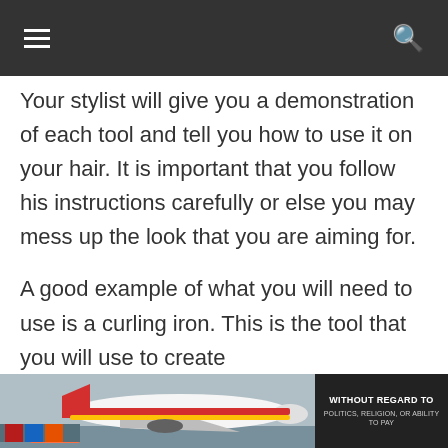≡  🔍
Your stylist will give you a demonstration of each tool and tell you how to use it on your hair. It is important that you follow his instructions carefully or else you may mess up the look that you are aiming for.
A good example of what you will need to use is a curling iron. This is the tool that you will use to create
[Figure (photo): Advertisement banner showing an airplane being loaded with cargo, with a dark box on the right reading 'WITHOUT REGARD TO' in white text on a dark background.]